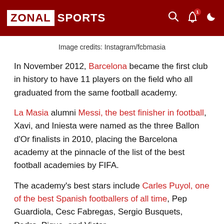ZONAL SPORTS
Image credits: Instagram/fcbmasia
In November 2012, Barcelona became the first club in history to have 11 players on the field who all graduated from the same football academy.
La Masia alumni Messi, the best finisher in football, Xavi, and Iniesta were named as the three Ballon d'Or finalists in 2010, placing the Barcelona academy at the pinnacle of the list of the best football academies by FIFA.
The academy's best stars include Carles Puyol, one of the best Spanish footballers of all time, Pep Guardiola, Cesc Fabregas, Sergio Busquets, Pedro, Pique, and Victor